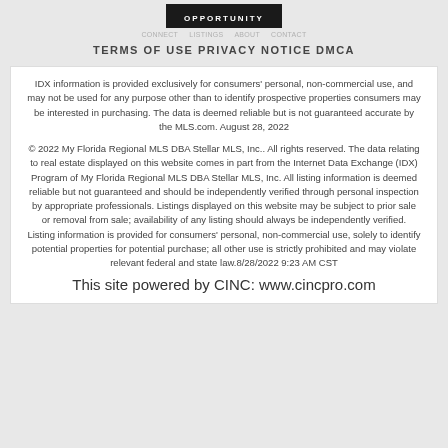[Figure (logo): Black bar with white text reading OPPORTUNITY]
TERMS OF USE PRIVACY NOTICE DMCA
IDX information is provided exclusively for consumers' personal, non-commercial use, and may not be used for any purpose other than to identify prospective properties consumers may be interested in purchasing. The data is deemed reliable but is not guaranteed accurate by the MLS.com. August 28, 2022
© 2022 My Florida Regional MLS DBA Stellar MLS, Inc.. All rights reserved. The data relating to real estate displayed on this website comes in part from the Internet Data Exchange (IDX) Program of My Florida Regional MLS DBA Stellar MLS, Inc. All listing information is deemed reliable but not guaranteed and should be independently verified through personal inspection by appropriate professionals. Listings displayed on this website may be subject to prior sale or removal from sale; availability of any listing should always be independently verified. Listing information is provided for consumers' personal, non-commercial use, solely to identify potential properties for potential purchase; all other use is strictly prohibited and may violate relevant federal and state law.8/28/2022 9:23 AM CST
This site powered by CINC: www.cincpro.com